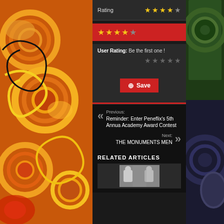[Figure (illustration): Decorative swirl pattern on left side panel with orange, yellow, red colors]
Rating ★★★★☆
[Figure (illustration): Red box with 4.5 star rating displayed]
User Rating: Be the first one !
Save (Pinterest button)
Previous: Reminder: Enter Peneflix's 5th Annual Academy Award Contest
Next: THE MONUMENTS MEN
RELATED ARTICLES
[Figure (photo): Thumbnail image of two men facing each other]
[Figure (illustration): Decorative swirl pattern on right side panel with dark green and grey colors]